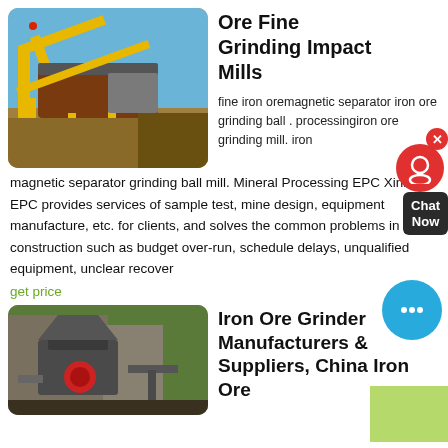[Figure (photo): Yellow industrial ore grinding/conveyor machine on a construction site with blue sky background]
Ore Fine Grinding Impact Mills
fine iron oremagnetic separator iron ore grinding ball . processingiron ore grinding mill. iron magnetic separator grinding ball mill. Mineral Processing EPC Xinhai EPC provides services of sample test, mine design, equipment manufacture, etc. for clients, and solves the common problems in plant construction such as budget over-run, schedule delays, unqualified equipment, unclear recovery
get price
[Figure (photo): Industrial iron ore grinder/crusher machine in a factory setting]
Iron Ore Grinder Manufacturers & Suppliers, China Iron Ore